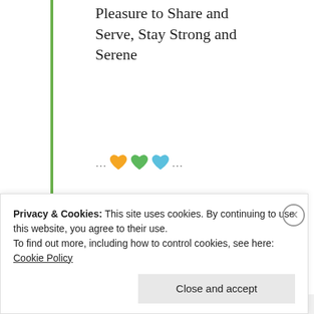Pleasure to Share and Serve, Stay Strong and Serene
[Figure (illustration): Three colored heart emoji icons (orange, green, blue) with ellipsis on each side]
★ Liked by 1 person
Advertisements
[Figure (other): Yellow advertisement banner: Share, Discuss, Collaborate, P2. Powered by WordPress logo]
Privacy & Cookies: This site uses cookies. By continuing to use this website, you agree to their use. To find out more, including how to control cookies, see here: Cookie Policy
Close and accept